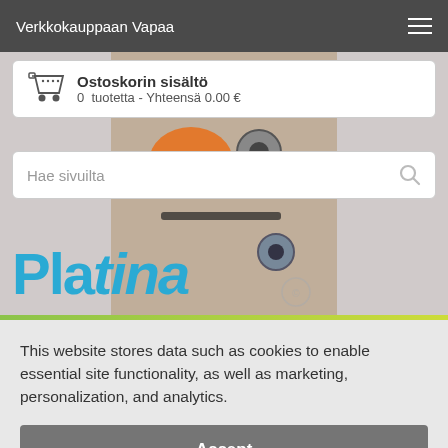Verkkokauppaan Vapaa
Ostoskorin sisältö
0  tuotetta - Yhteensä 0.00 €
[Figure (screenshot): Product image area showing hardware parts (orange cap, nuts, bolts) on brown surface]
Hae sivuilta
[Figure (logo): Platina logo in blue italic text]
This website stores data such as cookies to enable essential site functionality, as well as marketing, personalization, and analytics.
Accept
Deny